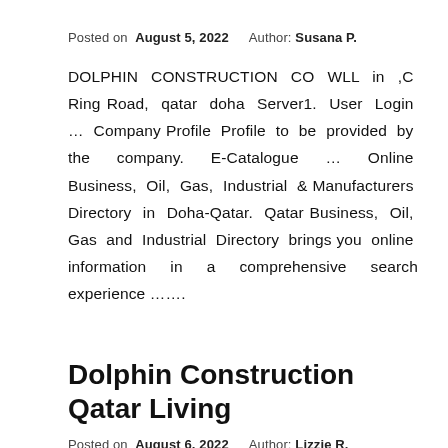Posted on  August 5, 2022    Author: Susana P.
DOLPHIN CONSTRUCTION CO WLL in ,C Ring Road, qatar doha Server1. User Login … Company Profile Profile to be provided by the company. E-Catalogue … Online Business, Oil, Gas, Industrial & Manufacturers Directory in Doha-Qatar. Qatar Business, Oil, Gas and Industrial Directory brings you online information in a comprehensive search experience …….
Dolphin Construction Qatar Living
Posted on  August 6, 2022    Author: Lizzie R.